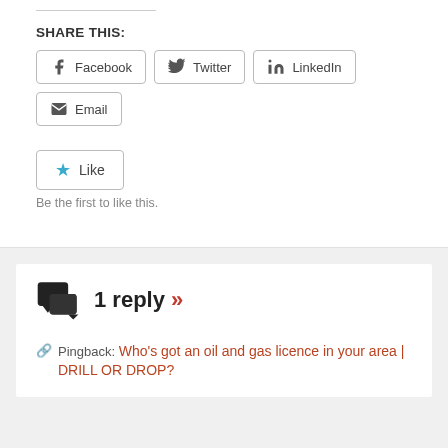SHARE THIS:
Facebook | Twitter | LinkedIn | Email (share buttons)
Like — Be the first to like this.
1 reply »
Pingback: Who's got an oil and gas licence in your area | DRILL OR DROP?